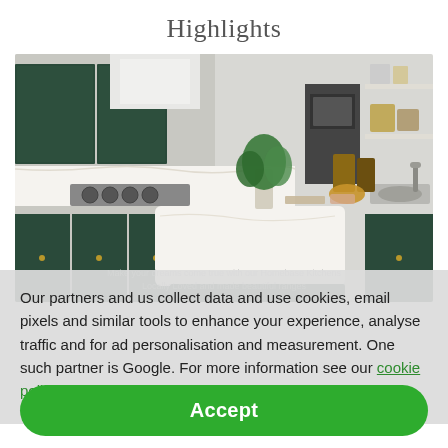Highlights
[Figure (photo): A modern kitchen with dark green cabinetry, white marble countertops, a central island with bar stools, gas hob, built-in oven, open shelving, and plant decoration.]
Our partners and us collect data and use cookies, email pixels and similar tools to enhance your experience, analyse traffic and for ad personalisation and measurement. One such partner is Google. For more information see our cookie policy.
Make your dreams come true with our Homebase Kitchens. Locally Loved and made beautiful ranges.
Accept